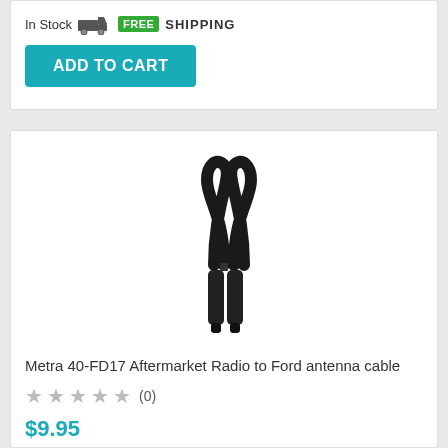In Stock FREE SHIPPING
ADD TO CART
[Figure (photo): Metra 40-FD17 antenna cable — a black coaxial cable looped at top with two connector ends hanging down]
Metra 40-FD17 Aftermarket Radio to Ford antenna cable
★★★★★ (0)
$9.95
In Stock FREE SHIPPING